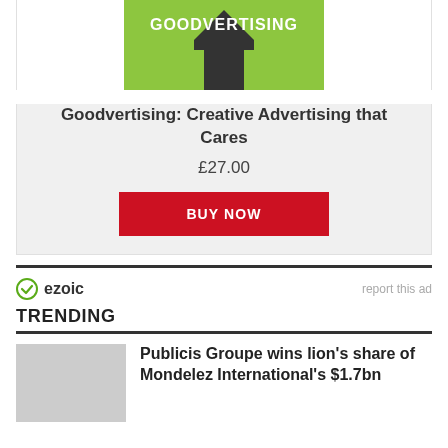[Figure (illustration): Book cover for Goodvertising: Creative Advertising that Cares, with green background and bold white text]
Goodvertising: Creative Advertising that Cares
£27.00
BUY NOW
[Figure (logo): Ezoic logo with green checkmark icon and bold text 'ezoic']
report this ad
TRENDING
Publicis Groupe wins lion's share of Mondelez International's $1.7bn